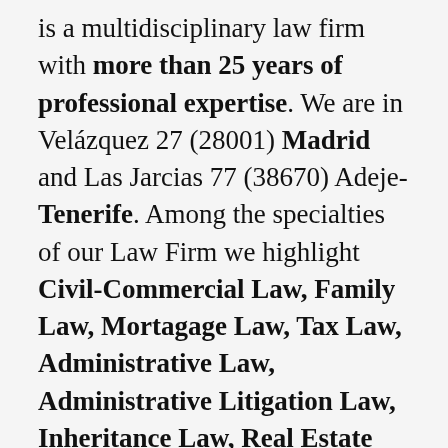is a multidisciplinary law firm with more than 25 years of professional expertise. We are in Velázquez 27 (28001) Madrid and Las Jarcias 77 (38670) Adeje-Tenerife. Among the specialties of our Law Firm we highlight Civil-Commercial Law, Family Law, Mortagage Law, Tax Law, Administrative Law, Administrative Litigation Law, Inheritance Law, Real Estate Law.
Our Law firm advices enterprises in the Commercial activity. Community of Owners, divorce proceedings, filiation, inheritances, economic administrative claims, contentious administrative resources, application of work